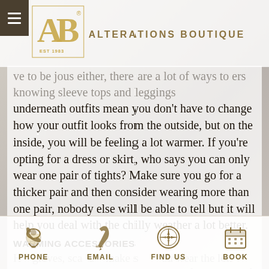ALTERATIONS BOUTIQUE EST 1983
ve to be jous either, there are a lot of ways to ers knowing sleeve tops and leggings underneath outfits mean you don't have to change how your outfit looks from the outside, but on the inside, you will be feeling a lot warmer. If you're opting for a dress or skirt, who says you can only wear one pair of tights? Make sure you go for a thicker pair and then consider wearing more than one pair, nobody else will be able to tell but it will help you deal with the chilly weather a lot better.
Warming accessories
H gloves, sca s – make s ou wear the lot. There's no point covering up the rest of your body if you leave certain areas out for
Phone  Email  Find us  Book